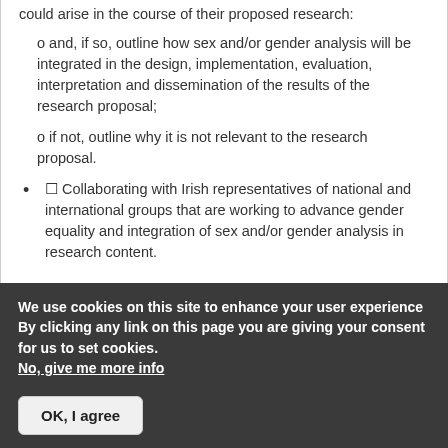could arise in the course of their proposed research:
o and, if so, outline how sex and/or gender analysis will be integrated in the design, implementation, evaluation, interpretation and dissemination of the results of the research proposal;
o if not, outline why it is not relevant to the research proposal.
☐ Collaborating with Irish representatives of national and international groups that are working to advance gender equality and integration of sex and/or gender analysis in research content.
We use cookies on this site to enhance your user experience By clicking any link on this page you are giving your consent for us to set cookies. No, give me more info
OK, I agree